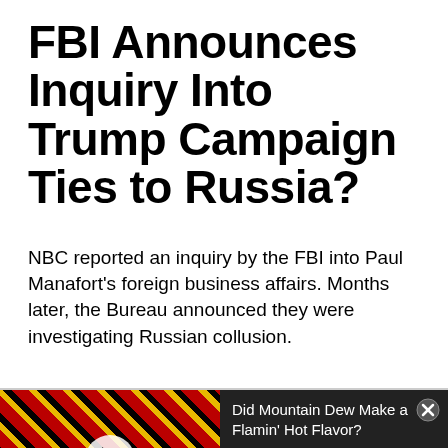FBI Announces Inquiry Into Trump Campaign Ties to Russia?
NBC reported an inquiry by the FBI into Paul Manafort's foreign business affairs. Months later, the Bureau announced they were investigating Russian collusion.
[Figure (screenshot): Video advertisement overlay showing Mountain Dew Flamin' Hot promotional video thumbnail on left with play button, and ad text 'Did Mountain Dew Make a Flamin' Hot Flavor?' on black background on right with close button]
[Figure (screenshot): Bottom app advertisement banner for BitLife - Life Simulator with Ad label, app icon, app name, and Install button]